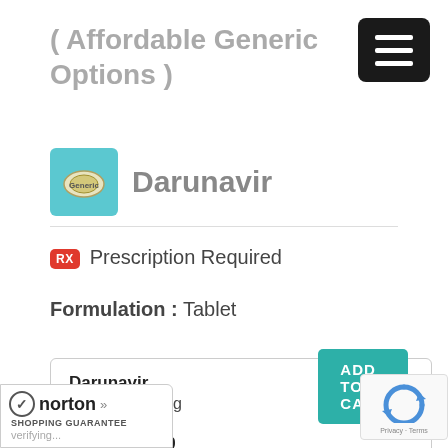( Affordable Generic Options )
[Figure (logo): Generic drug pill icon on teal background]
Darunavir
Prescription Required
Formulation : Tablet
| Darunavir |
| Dosage: 600mg |
| Quantity: 60 |
| Price: $275.00 |